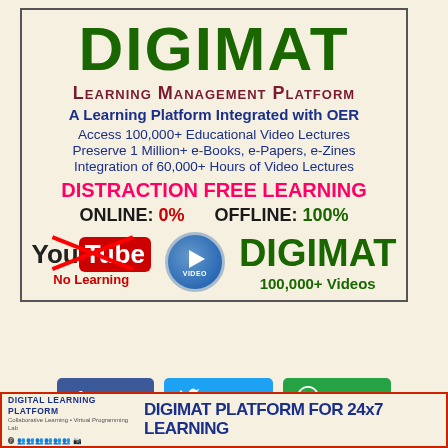DIGIMAT
Learning Management Platform
A Learning Platform Integrated with OER
Access 100,000+ Educational Video Lectures
Preserve 1 Million+ e-Books, e-Papers, e-Zines
Integration of 60,000+ Hours of Video Lectures
DISTRACTION FREE LEARNING
ONLINE: 0%   OFFLINE: 100%
[Figure (infographic): YouTube crossed out (No Learning) vs DIGIMAT video player (100,000+ Videos)]
[Figure (infographic): Facebook Share, Twitter Share, WhatsApp Share buttons]
HOME
[Figure (infographic): Bottom banner: DIGITAL LEARNING PLATFORM / DIGIMAT PLATFORM FOR 24x7 LEARNING]